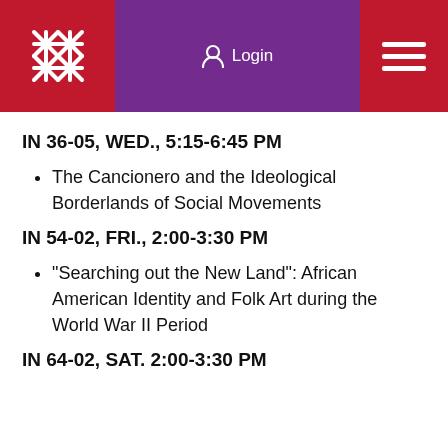Login
IN 36-05, WED., 5:15-6:45 PM
The Cancionero and the Ideological Borderlands of Social Movements
IN 54-02, FRI., 2:00-3:30 PM
“Searching out the New Land”: African American Identity and Folk Art during the World War II Period
IN 64-02, SAT. 2:00-3:30 PM